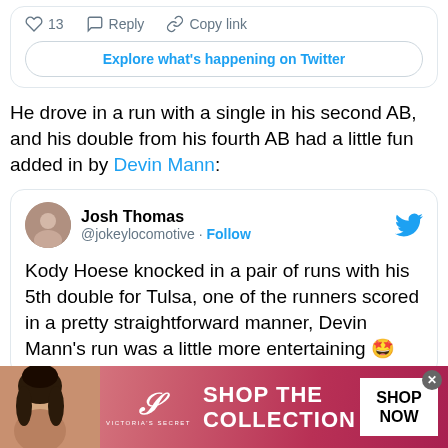[Figure (screenshot): Twitter action bar with heart icon showing 13 likes, Reply button, and Copy link button, plus an Explore button]
He drove in a run with a single in his second AB, and his double from his fourth AB had a little fun added in by Devin Mann:
[Figure (screenshot): Embedded tweet from Josh Thomas (@jokeylocomotive) with Follow link and Twitter bird icon. Tweet text: Kody Hoese knocked in a pair of runs with his 5th double for Tulsa, one of the runners scored in a pretty straightforward manner, Devin Mann's run was a little more entertaining [emoji]]
[Figure (infographic): Victoria's Secret advertisement banner with woman photo, VS logo, SHOP THE COLLECTION text, and SHOP NOW button]